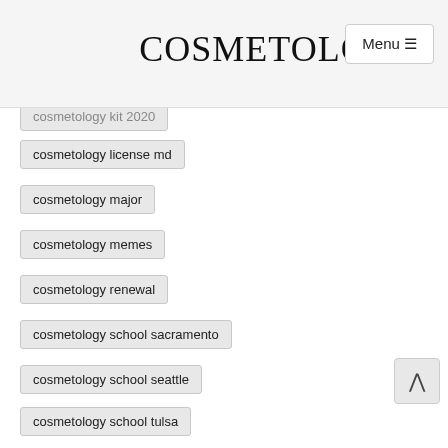COSMETOLOGY
cosmetology kit 2020
cosmetology license md
cosmetology major
cosmetology memes
cosmetology renewal
cosmetology school sacramento
cosmetology school seattle
cosmetology school tulsa
cosmetology shears
cosmetology svg
cosmetology tattoos